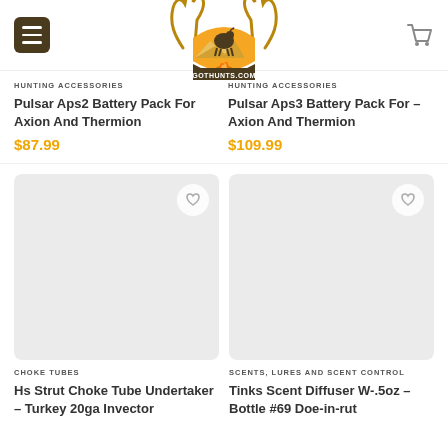GOTHUNTS.COM navigation header with menu and cart
HUNTING ACCESSORIES
Pulsar Aps2 Battery Pack For Axion And Thermion
$87.99
HUNTING ACCESSORIES
Pulsar Aps3 Battery Pack For – Axion And Thermion
$109.99
[Figure (photo): Product image placeholder – Hs Strut Choke Tube Undertaker with wishlist heart button]
[Figure (photo): Product image placeholder – Tinks Scent Diffuser with wishlist heart button]
CHOKE TUBES
Hs Strut Choke Tube Undertaker – Turkey 20ga Invector
SCENTS, LURES AND SCENT CONTROL
Tinks Scent Diffuser W-.5oz – Bottle #69 Doe-in-rut